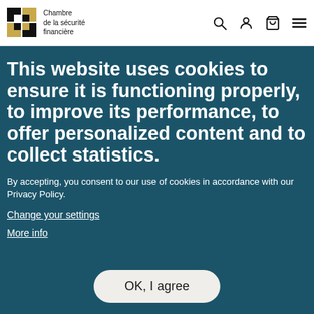Chambre de la sécurité financière
This website uses cookies to ensure it is functioning properly, to improve its performance, to offer personalized content and to collect statistics.
By accepting, you consent to our use of cookies in accordance with our Privacy Policy.
Change your settings
More info
OK, I agree